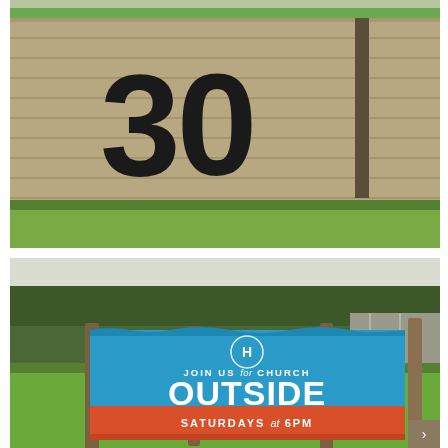[Figure (photo): Outdoor photo of a building wall with large black number '30' painted on a beige/tan brick or shingle wall. Green banner or signage visible at top. Green grass at bottom.]
[Figure (photo): Outdoor photo of a blue and orange/red banner sign hung between wooden posts on a grassy lawn with trees in background. Banner reads 'H JOIN US for CHURCH OUTSIDE SATURDAYS at 6PM' in white text. A small navigation arrow icon is visible in bottom right corner over a tan background.]